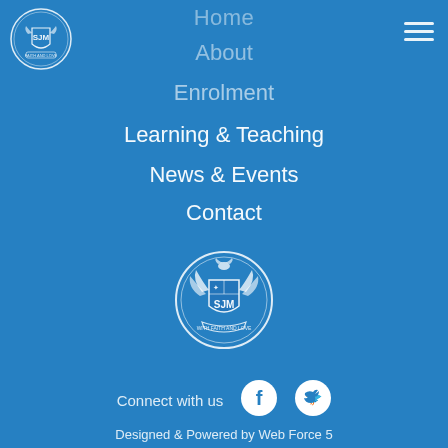[Figure (logo): SJM school crest logo, top left corner, circular badge with eagle and shield]
Home
About
Enrolment
Learning & Teaching
News & Events
Contact
[Figure (logo): SJM school crest logo centered, circular badge with eagle and shield, white on blue]
Connect with us
[Figure (logo): Facebook and Twitter social media icons]
Designed & Powered by Web Force 5